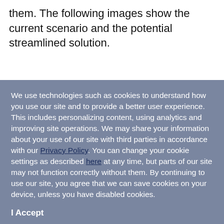them. The following images show the current scenario and the potential streamlined solution.
We use technologies such as cookies to understand how you use our site and to provide a better user experience. This includes personalizing content, using analytics and improving site operations. We may share your information about your use of our site with third parties in accordance with our Privacy Policy. You can change your cookie settings as described here at any time, but parts of our site may not function correctly without them. By continuing to use our site, you agree that we can save cookies on your device, unless you have disabled cookies.
I Accept